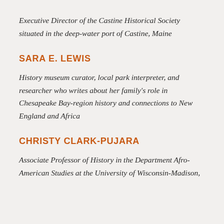Executive Director of the Castine Historical Society situated in the deep-water port of Castine, Maine
SARA E. LEWIS
History museum curator, local park interpreter, and researcher who writes about her family's role in Chesapeake Bay-region history and connections to New England and Africa
CHRISTY CLARK-PUJARA
Associate Professor of History in the Department Afro-American Studies at the University of Wisconsin-Madison,